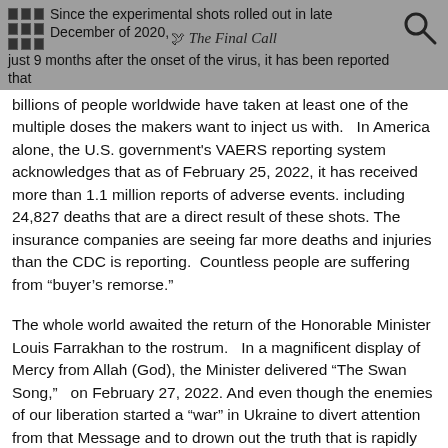Since the experimental shots rolled out in late December of 2020, just 9 months after the onset of the virus, it has been reported that
billions of people worldwide have taken at least one of the multiple doses the makers want to inject us with.   In America alone, the U.S. government's VAERS reporting system acknowledges that as of February 25, 2022, it has received more than 1.1 million reports of adverse events. including 24,827 deaths that are a direct result of these shots. The insurance companies are seeing far more deaths and injuries than the CDC is reporting.  Countless people are suffering from “buyer’s remorse.”
The whole world awaited the return of the Honorable Minister Louis Farrakhan to the rostrum.   In a magnificent display of Mercy from Allah (God), the Minister delivered “The Swan Song,”   on February 27, 2022. And even though the enemies of our liberation started a “war” in Ukraine to divert attention from that Message and to drown out the truth that is rapidly coming to surface about the Depopulation strategy in the COVID-19 worldwide vaccine campaign;